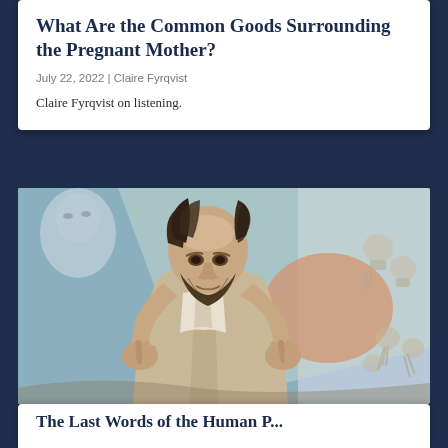What Are the Common Goods Surrounding the Pregnant Mother?
July 22, 2022 | Claire Fyrqvist
Claire Fyrqvist on listening.
[Figure (illustration): A painting depicting a gaunt, bearded man with raised hands and crossed fingers, set against a complex background featuring skeletal figures and atmospheric colors of blue, orange, and green.]
The Last Words of the Human P...